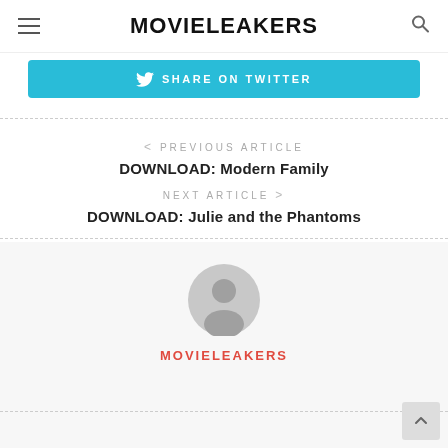MOVIELEAKERS
[Figure (infographic): SHARE ON TWITTER button in cyan/teal color with Twitter bird icon]
< PREVIOUS ARTICLE
DOWNLOAD: Modern Family
NEXT ARTICLE >
DOWNLOAD: Julie and the Phantoms
[Figure (illustration): Generic user avatar - gray silhouette of a person in a circle]
MOVIELEAKERS